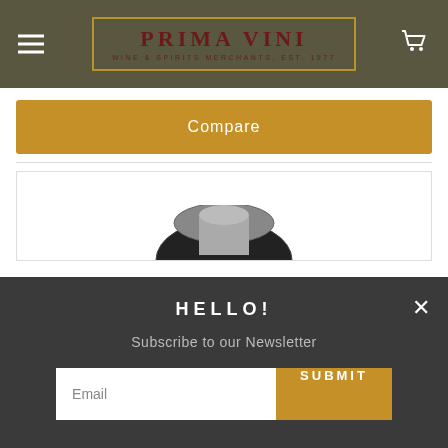PRIMA VINI — WINE & SPIRITS MERCHANTS, EST. 1977
Compare
[Figure (screenshot): Partial product image area showing top of a bottle with circular label, white background with border]
HELLO!
Subscribe to our Newsletter
Email
SUBMIT